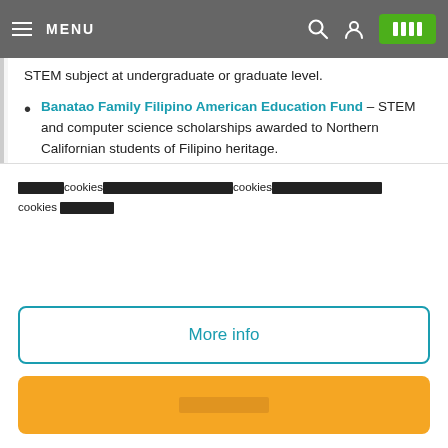MENU
STEM subject at undergraduate or graduate level.
Banatao Family Filipino American Education Fund – STEM and computer science scholarships awarded to Northern Californian students of Filipino heritage.
Betty Stevens Frecknall Scholarship – Computer science scholarships for students enrolled on full-
[redacted] cookies [redacted] cookies [redacted] cookies [redacted]
More info
[redacted button]